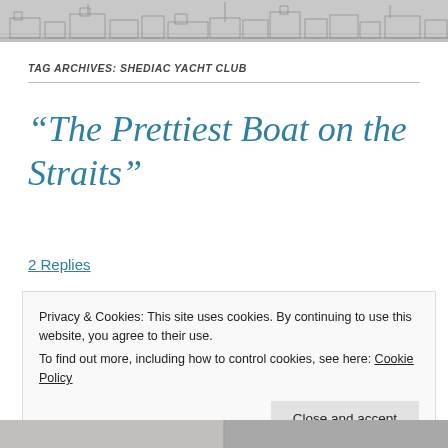[Figure (illustration): Black and white sketch/engraving of a harbor or waterfront scene with boats and buildings]
TAG ARCHIVES: SHEDIAC YACHT CLUB
“The Prettiest Boat on the Straits”
2 Replies
Privacy & Cookies: This site uses cookies. By continuing to use this website, you agree to their use.
To find out more, including how to control cookies, see here: Cookie Policy
[Figure (photo): Partial photo visible at the bottom of the page]